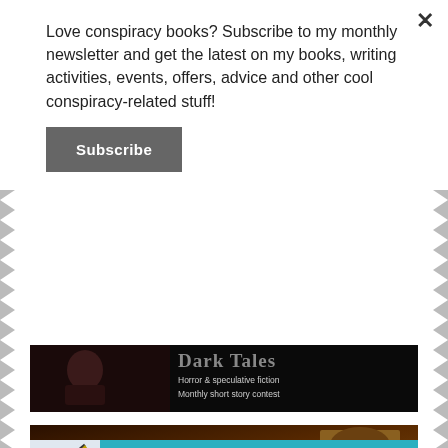Love conspiracy books? Subscribe to my monthly newsletter and get the latest on my books, writing activities, events, offers, advice and other cool conspiracy-related stuff!
[Figure (illustration): Subscribe button - grey rectangular button with white bold text 'Subscribe']
[Figure (illustration): Dark Tales banner - black background with gothic horror illustration on left and text 'Dark Tales Horror & speculative fiction Monthly short story contest' on right]
[Figure (illustration): Theme of Absence banner - dark moody background with gothic arch doorway on right, stylized yellow text 'THEME OF ABSENCE' and subtitle 'An Online Magazine of Fantasy, Horror and Science Fiction']
[Figure (illustration): Partial third banner visible at bottom - teal/turquoise background with partial image visible]